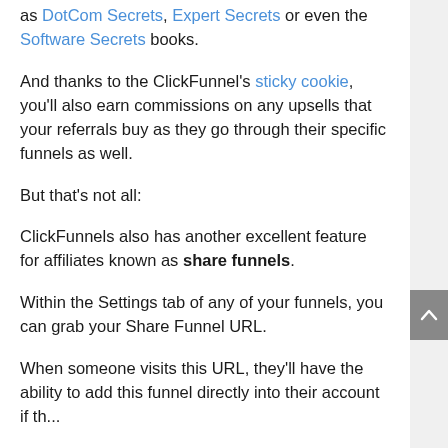as DotCom Secrets, Expert Secrets or even the Software Secrets books.
And thanks to the ClickFunnel's sticky cookie, you'll also earn commissions on any upsells that your referrals buy as they go through their specific funnels as well.
But that's not all:
ClickFunnels also has another excellent feature for affiliates known as share funnels.
Within the Settings tab of any of your funnels, you can grab your Share Funnel URL.
When someone visits this URL, they'll have the ability to add this funnel directly into their account if they have an existing ClickFunnels account. If they...